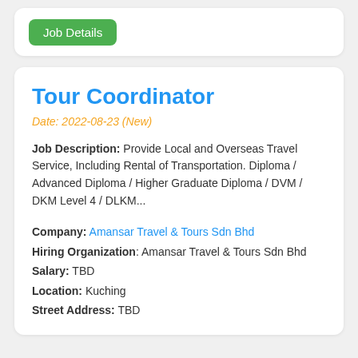[Figure (other): Green 'Job Details' button in a white card]
Tour Coordinator
Date: 2022-08-23 (New)
Job Description: Provide Local and Overseas Travel Service, Including Rental of Transportation. Diploma / Advanced Diploma / Higher Graduate Diploma / DVM / DKM Level 4 / DLKM...
Company: Amansar Travel & Tours Sdn Bhd
Hiring Organization: Amansar Travel & Tours Sdn Bhd
Salary: TBD
Location: Kuching
Street Address: TBD